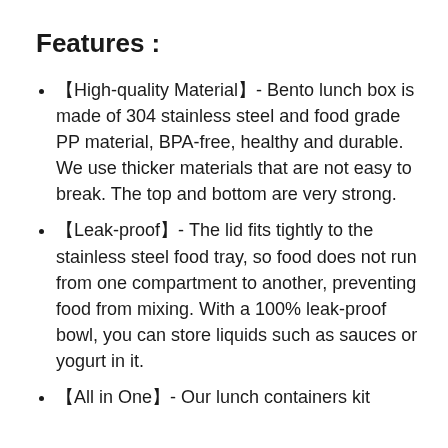Features :
【High-quality Material】- Bento lunch box is made of 304 stainless steel and food grade PP material, BPA-free, healthy and durable. We use thicker materials that are not easy to break. The top and bottom are very strong.
【Leak-proof】- The lid fits tightly to the stainless steel food tray, so food does not run from one compartment to another, preventing food from mixing. With a 100% leak-proof bowl, you can store liquids such as sauces or yogurt in it.
【All in One】- Our lunch containers kit